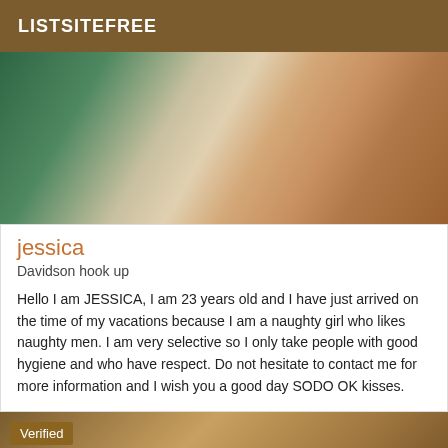LISTSITEFREE
[Figure (photo): Close-up photo showing fabric with green floral pattern and skin tones]
jessica
Davidson hook up
Hello I am JESSICA, I am 23 years old and I have just arrived on the time of my vacations because I am a naughty girl who likes naughty men. I am very selective so I only take people with good hygiene and who have respect. Do not hesitate to contact me for more information and I wish you a good day SODO OK kisses.
[Figure (photo): Dark brownish blurred background photo with Verified badge overlay]